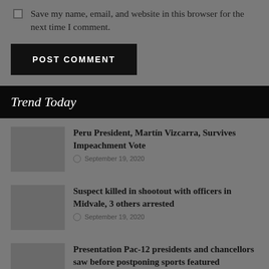Save my name, email, and website in this browser for the next time I comment.
POST COMMENT
Trend Today
Peru President, Martín Vizcarra, Survives Impeachment Vote
September 19, 2020
Suspect killed in shootout with officers in Midvale, 3 others arrested
September 19, 2020
Presentation Pac-12 presidents and chancellors saw before postponing sports featured
September 18, 2020